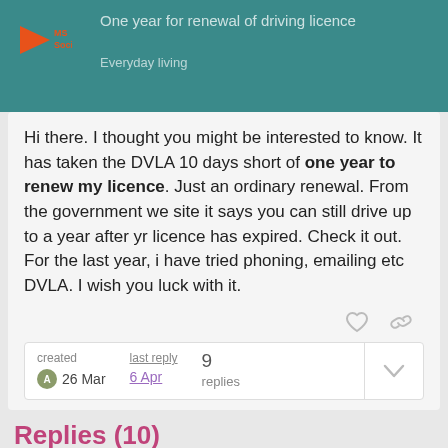One year for renewal of driving licence
Everyday living
Hi there. I thought you might be interested to know. It has taken the DVLA 10 days short of one year to renew my licence. Just an ordinary renewal. From the government we site it says you can still drive up to a year after yr licence has expired. Check it out. For the last year, i have tried phoning, emailing etc DVLA. I wish you luck with it.
created 26 Mar   last reply 6 Apr   9 replies
Replies (10)